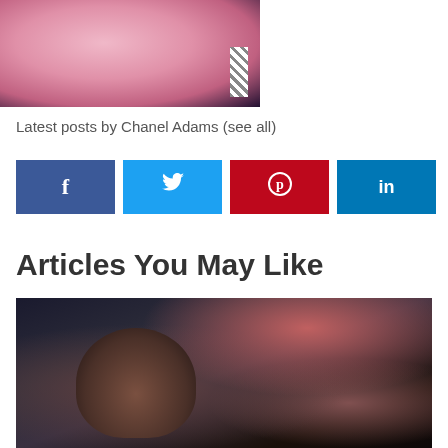[Figure (photo): Top portion of a photo showing a person in a pink outfit against a dark background with diagonal striped element visible]
Latest posts by Chanel Adams (see all)
[Figure (infographic): Row of four social media share buttons: Facebook (f), Twitter (bird icon), Pinterest (p circle icon), LinkedIn (in)]
Articles You May Like
[Figure (photo): Photo of a person lying down with a cat, dark toned image with pink elements visible at top right]